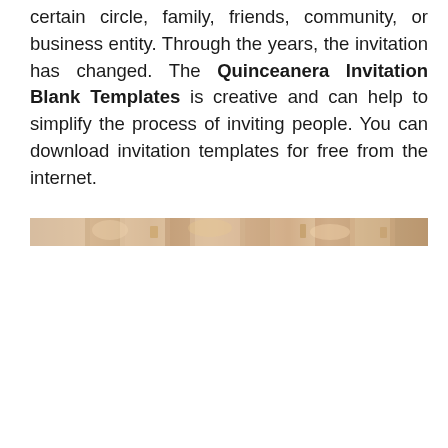certain circle, family, friends, community, or business entity. Through the years, the invitation has changed. The Quinceanera Invitation Blank Templates is creative and can help to simplify the process of inviting people. You can download invitation templates for free from the internet.
[Figure (photo): A decorative horizontal image strip showing a blurred floral or food arrangement with warm peachy and golden tones.]